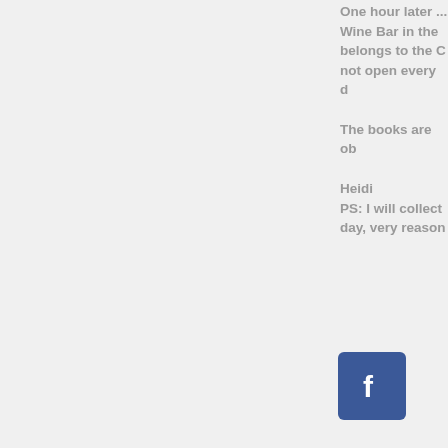One hour later ... Wine Bar in the ... belongs to the Ci... not open every d...
The books are ob...
Heidi
PS: I will collect... day, very reason...
[Figure (logo): Facebook logo icon - white 'f' on blue square background]